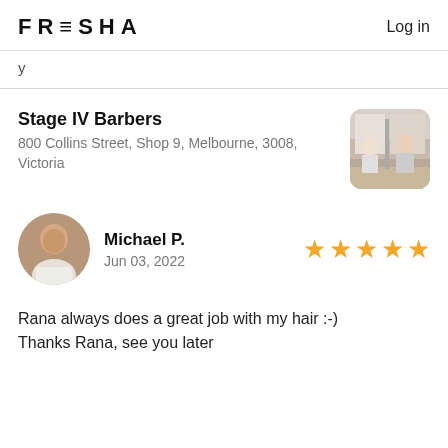FRESHA  Log in
y
Stage IV Barbers
800 Collins Street, Shop 9, Melbourne, 3008, Victoria
[Figure (photo): Barber shop interior photo thumbnail]
[Figure (photo): Circular avatar photo of Michael P.]
Michael P.
Jun 03, 2022
[Figure (infographic): Five gold star rating]
Rana always does a great job with my hair :-)
Thanks Rana, see you later